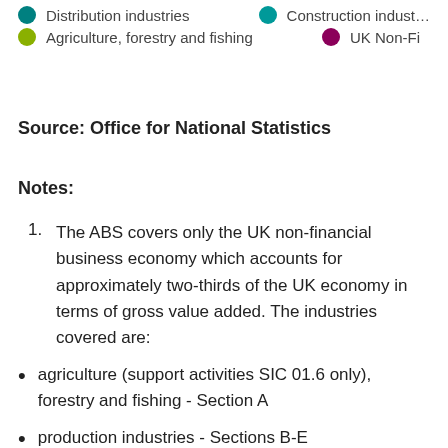[Figure (other): Legend showing colour-coded dots for: Distribution Industries (teal), Construction Industries (teal, partially cut off), Agriculture forestry and fishing (olive/yellow-green), UK Non-Fi (dark pink/maroon, partially cut off)]
Source: Office for National Statistics
Notes:
The ABS covers only the UK non-financial business economy which accounts for approximately two-thirds of the UK economy in terms of gross value added. The industries covered are:
agriculture (support activities SIC 01.6 only), forestry and fishing - Section A
production industries - Sections B-E